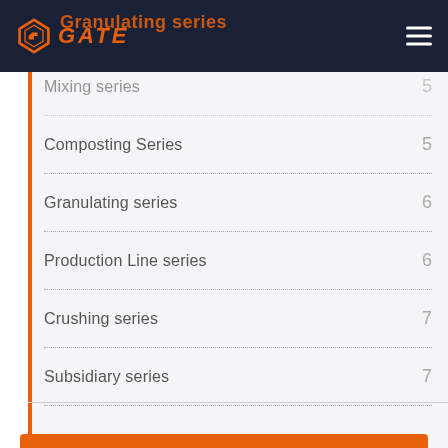Granulating series
Mixing series  5
Composting Series  5
Granulating series  6
Production Line series  6
Crushing series  7
Subsidiary series  7
Tag Clouds